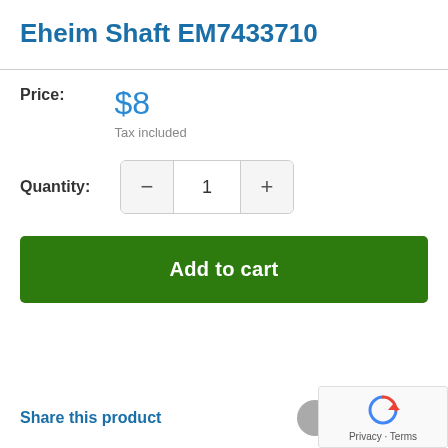Eheim Shaft EM7433710
Price: $8
Tax included
Quantity: 1
Add to cart
Share this product